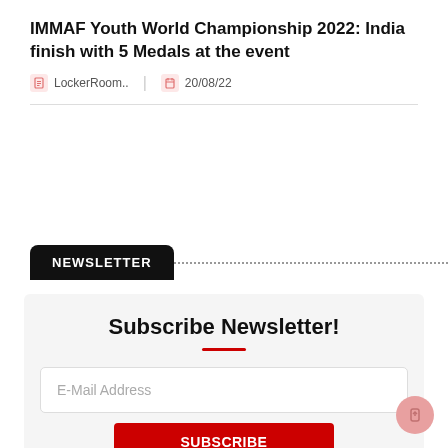IMMAF Youth World Championship 2022: India finish with 5 Medals at the event
LockerRoom..  |  20/08/22
NEWSLETTER
Subscribe Newsletter!
E-Mail Address